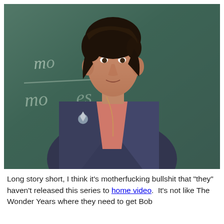[Figure (photo): A young man with dark curly hair wearing a blue/navy leather jacket over a salmon/coral t-shirt, sitting in front of a green chalkboard with chalk writing visible. The photo appears to be from the 1980s based on the style.]
Long story short, I think it's motherfucking bullshit that "they" haven't released this series to home video.  It's not like The Wonder Years where they need to get Bob